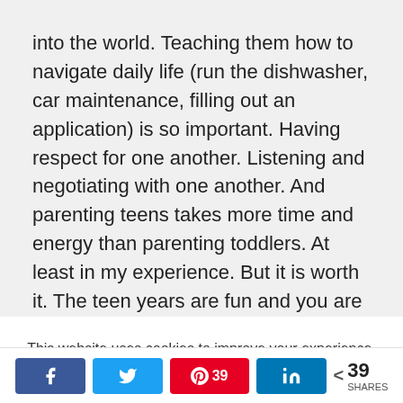into the world. Teaching them how to navigate daily life (run the dishwasher, car maintenance, filling out an application) is so important. Having respect for one another. Listening and negotiating with one another. And parenting teens takes more time and energy than parenting toddlers. At least in my experience. But it is worth it. The teen years are fun and you are building a relationship that you will have all your life. I have one teen and one adult. She is wonderful. A great friend. That friendship
This website uses cookies to improve your experience. We'll assume you're ok with this, but you can opt-out if you wish.
< 39 SHARES [Facebook share] [Twitter share] [Pinterest 39] [LinkedIn share]